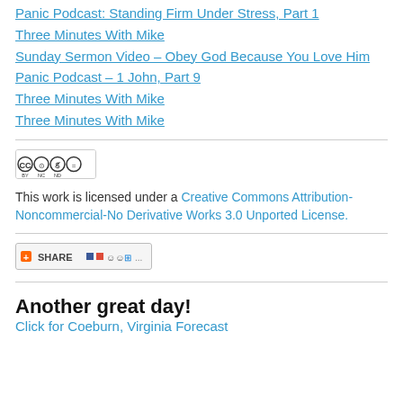Panic Podcast: Standing Firm Under Stress, Part 1
Three Minutes With Mike
Sunday Sermon Video – Obey God Because You Love Him
Panic Podcast – 1 John, Part 9
Three Minutes With Mike
Three Minutes With Mike
[Figure (logo): Creative Commons BY-NC-ND license badge]
This work is licensed under a Creative Commons Attribution-Noncommercial-No Derivative Works 3.0 Unported License.
[Figure (other): Share button with social sharing icons (SHARE +)]
Another great day!
Click for Coeburn, Virginia Forecast